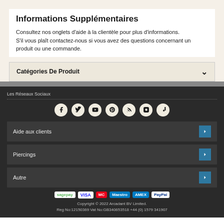Informations Supplémentaires
Consultez nos onglets d'aide à la clientèle pour plus d'informations. S'il vous plaît contactez-nous si vous avez des questions concernant un produit ou une commande.
Catégories De Produit
Les Réseaux Sociaux
Aide aux clients
Piercings
Autre
Copyright © 2022 Arcadant BV Limited. Reg No:12150369 Vat No:GB340653518 +44 (0) 1579 341907